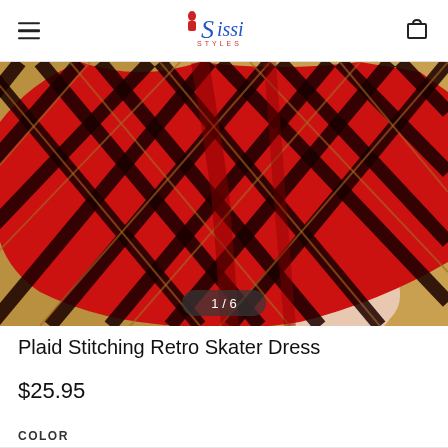Sissi Styles — navigation header with hamburger menu and cart icon
[Figure (photo): Close-up product photo of a red and black plaid skater dress being held/twirled, showing the skirt flare against a golden-yellow background. Image counter overlay shows 1/6.]
Plaid Stitching Retro Skater Dress
$25.95
COLOR